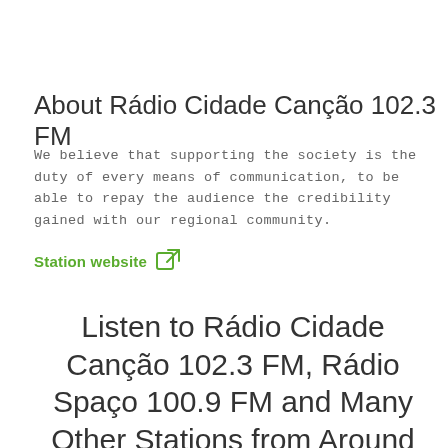About Rádio Cidade Canção 102.3 FM
We believe that supporting the society is the duty of every means of communication, to be able to repay the audience the credibility gained with our regional community.
Station website
Listen to Rádio Cidade Canção 102.3 FM, Rádio Spaço 100.9 FM and Many Other Stations from Around the World with the radio.net App